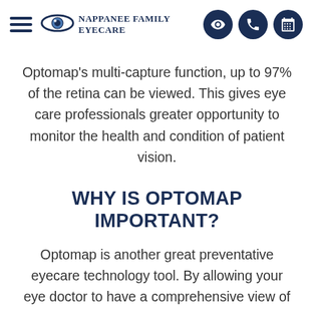Nappanee Family Eyecare
Optomap's multi-capture function, up to 97% of the retina can be viewed. This gives eye care professionals greater opportunity to monitor the health and condition of patient vision.
WHY IS OPTOMAP IMPORTANT?
Optomap is another great preventative eyecare technology tool. By allowing your eye doctor to have a comprehensive view of